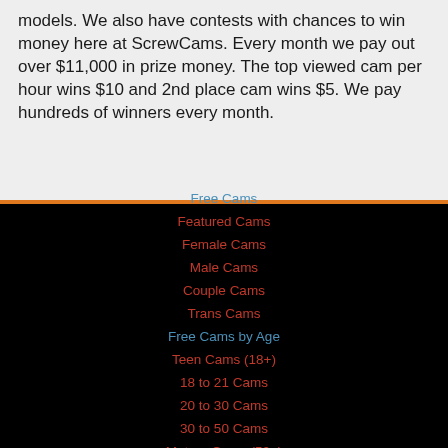models. We also have contests with chances to win money here at ScrewCams. Every month we pay out over $11,000 in prize money. The top viewed cam per hour wins $10 and 2nd place cam wins $5. We pay hundreds of winners every month.
Free Cams
Featured Cams
Female Cams
Male Cams
Couple Cams
Trans Cams
Free Cams by Age
Teen Cams (18+)
18 to 21 Cams
20 to 30 Cams
30 to 50 Cams
Mature Cams (50+)